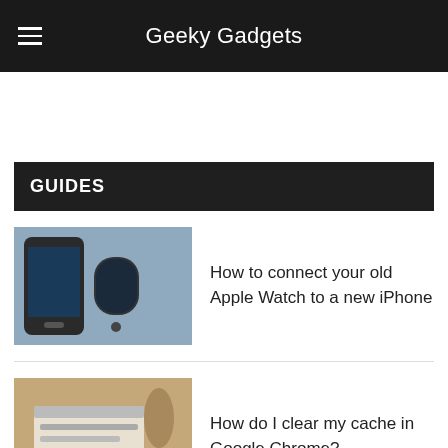Geeky Gadgets
GUIDES
[Figure (photo): Apple Watch and iPhone device photo]
How to connect your old Apple Watch to a new iPhone
[Figure (photo): Laptop on a desk with coffee cup]
How do I clear my cache in Google Chrome?
[Figure (photo): iPhone on an orange/warm background]
How to reset your iPhone network settings